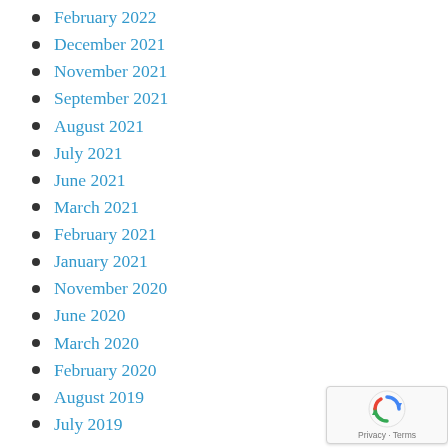February 2022
December 2021
November 2021
September 2021
August 2021
July 2021
June 2021
March 2021
February 2021
January 2021
November 2020
June 2020
March 2020
February 2020
August 2019
July 2019
[Figure (other): reCAPTCHA badge with spinning arrows icon and 'Privacy - Terms' text]